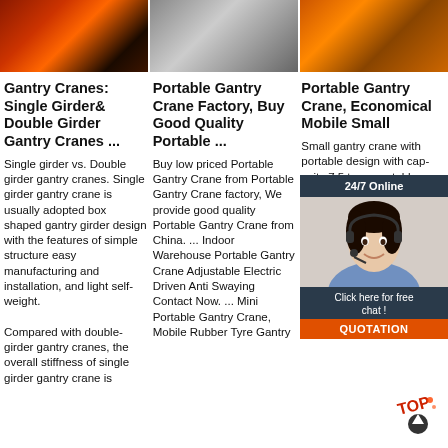[Figure (photo): Dark red/orange industrial crane image]
[Figure (photo): Gray indoor warehouse with crane equipment]
[Figure (photo): Orange gantry crane structure outdoors]
Gantry Cranes: Single Girder& Double Girder Gantry Cranes ...
Single girder vs. Double girder gantry cranes. Single girder gantry crane is usually adopted box shaped gantry girder design with the features of simple structure easy manufacturing and installation, and light self-weight. Compared with double-girder gantry cranes, the overall stiffness of single girder gantry crane is
Portable Gantry Crane Factory, Buy Good Quality Portable ...
Buy low priced Portable Gantry Crane from Portable Gantry Crane factory, We provide good quality Portable Gantry Crane from China. ... Indoor Warehouse Portable Gantry Crane Adjustable Electric Driven Anti Swaying Contact Now. ... Mini Portable Gantry Crane, Mobile Rubber Tyre Gantry
Portable Gantry Crane, Economical Mobile Small
Small gantry crane with portable design with capacity 7.5 tons, portable specifications to get cost-effective crane price. Mobile gantry cranes are a cost-effective alternative to a permanent overhead travel crane systems and the features of light-weight, versatile, and
[Figure (screenshot): 24/7 Online chat widget with customer service representative and QUOTATION button]